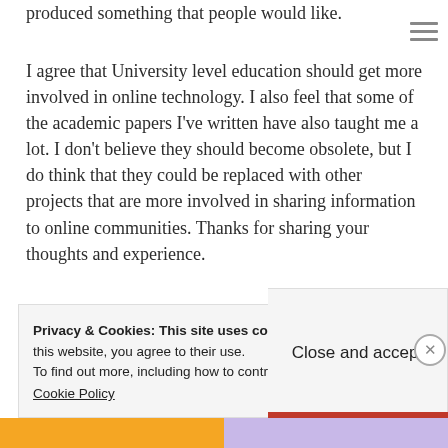produced something that people would like.
I agree that University level education should get more involved in online technology. I also feel that some of the academic papers I've written have also taught me a lot. I don't believe they should become obsolete, but I do think that they could be replaced with other projects that are more involved in sharing information to online communities. Thanks for sharing your thoughts and experience.
★ Like
Privacy & Cookies: This site uses cookies. By continuing to use this website, you agree to their use. To find out more, including how to control cookies, see here: Cookie Policy
Close and accept